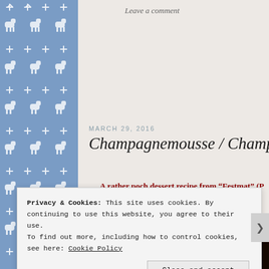[Figure (illustration): Blue Nordic/Scandinavian decorative pattern sidebar on the left with reindeer and snowflake motifs in white on blue background]
Leave a comment
MARCH 29, 2016
Champagnemousse / Champagne Mousse
A rather poch dessert recipe from “Festmat” (P... published by Hjemmets Kokebokklubb in ...
[Figure (screenshot): Dark brown/black image box with white bold text reading RecipeReminiscing]
Privacy & Cookies: This site uses cookies. By continuing to use this website, you agree to their use.
To find out more, including how to control cookies, see here: Cookie Policy
Close and accept